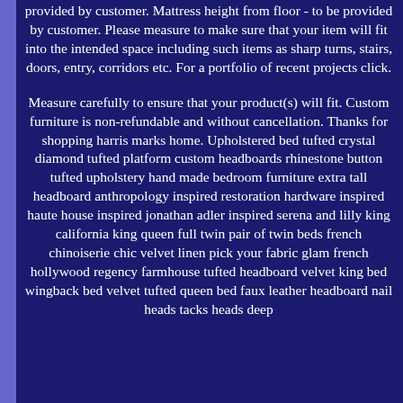provided by customer. Mattress height from floor - to be provided by customer. Please measure to make sure that your item will fit into the intended space including such items as sharp turns, stairs, doors, entry, corridors etc. For a portfolio of recent projects click.
Measure carefully to ensure that your product(s) will fit. Custom furniture is non-refundable and without cancellation. Thanks for shopping harris marks home. Upholstered bed tufted crystal diamond tufted platform custom headboards rhinestone button tufted upholstery hand made bedroom furniture extra tall headboard anthropology inspired restoration hardware inspired haute house inspired jonathan adler inspired serena and lilly king california king queen full twin pair of twin beds french chinoiserie chic velvet linen pick your fabric glam french hollywood regency farmhouse tufted headboard velvet king bed wingback bed velvet tufted queen bed faux leather headboard nail heads tacks heads deep